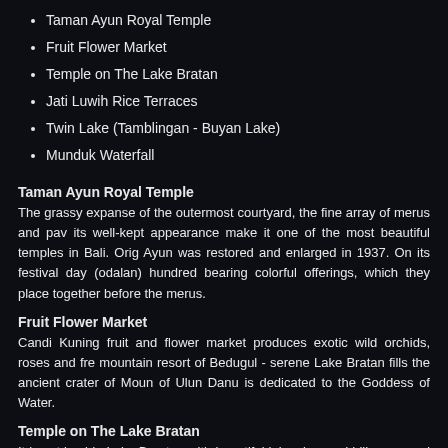Taman Ayun Royal Temple
Fruit Flower Market
Temple on The Lake Bratan
Jati Luwih Rice Terraces
Twin Lake (Tamblingan - Buyan Lake)
Munduk Waterfall
Taman Ayun Royal Temple
The grassy expanse of the outermost courtyard, the fine array of merus and pav its well-kept appearance make it one of the most beautiful temples in Bali. Orig Ayun was restored and enlarged in 1937. On its festival day (odalan) hundred bearing colorful offerings, which they place together before the merus.
Fruit Flower Market
Candi Kuning fruit and flower market produces exotic wild orchids, roses and fre mountain resort of Bedugul - serene Lake Bratan fills the ancient crater of Moun of Ulun Danu is dedicated to the Goddess of Water.
Temple on The Lake Bratan
It is set beside Lake Beratan with beautiful lake view and hills surround it. It is sit the temperature is cooler and the hills are a lovely backdrop.